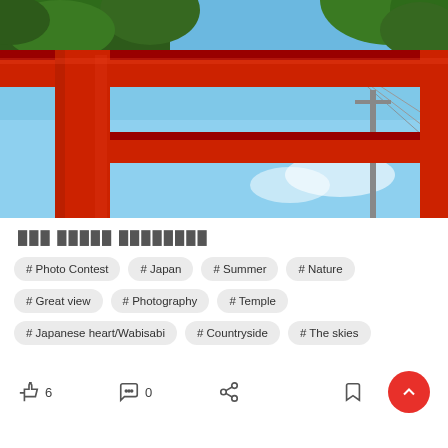[Figure (photo): Close-up photo of a red Japanese torii gate against a blue sky, with green tree branches visible in the upper corners and power lines in the background.]
███ █████ ████████
# Photo Contest
# Japan
# Summer
# Nature
# Great view
# Photography
# Temple
# Japanese heart/Wabisabi
# Countryside
# The skies
6  0